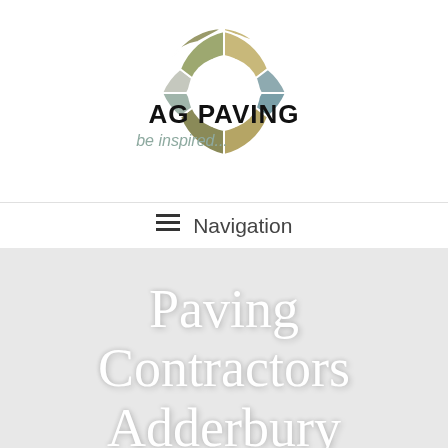[Figure (logo): AG Paving donut/ring logo made of colored segments (olive, tan, steel blue, light grey) with text 'AG PAVING' in bold black and tagline 'be inspired...' in grey-green]
≡  Navigation
Paving Contractors Adderbury
[Figure (other): Green circle phone call button icon in bottom right corner]
Home > Service > Paving Contractors